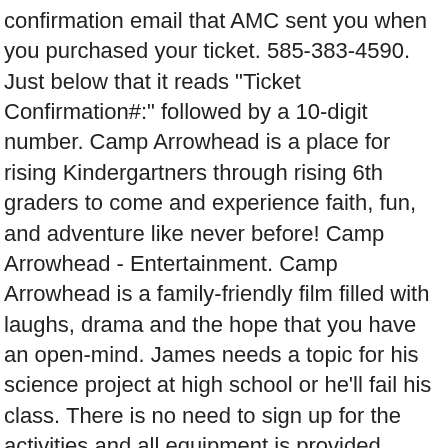confirmation email that AMC sent you when you purchased your ticket. 585-383-4590. Just below that it reads "Ticket Confirmation#:" followed by a 10-digit number. Camp Arrowhead is a place for rising Kindergartners through rising 6th graders to come and experience faith, fun, and adventure like never before! Camp Arrowhead - Entertainment. Camp Arrowhead is a family-friendly film filled with laughs, drama and the hope that you have an open-mind. James needs a topic for his science project at high school or he'll fail his class. There is no need to sign up for the activities and all equipment is provided. There are no featured audience reviews for Camp Arrowhead at this time. Don't have an account? دانلود فیلم Camp Arrowhead 2020 زیرنویس فارسی چسبیده کمپ تیر و کمان دختری جوان که داغدار از دست دادن مادرش است، تلاش می کند